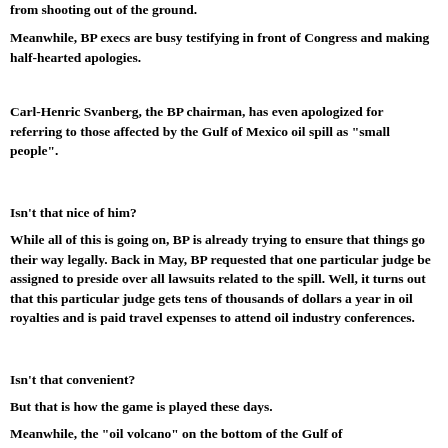from shooting out of the ground.
Meanwhile, BP execs are busy testifying in front of Congress and making half-hearted apologies.
Carl-Henric Svanberg, the BP chairman, has even apologized for referring to those affected by the Gulf of Mexico oil spill as "small people".
Isn't that nice of him?
While all of this is going on, BP is already trying to ensure that things go their way legally. Back in May, BP requested that one particular judge be assigned to preside over all lawsuits related to the spill. Well, it turns out that this particular judge gets tens of thousands of dollars a year in oil royalties and is paid travel expenses to attend oil industry conferences.
Isn't that convenient?
But that is how the game is played these days.
Meanwhile, the "oil volcano" on the bottom of the Gulf of